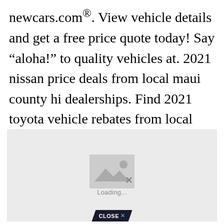newcars.com®. View vehicle details and get a free price quote today! Say “aloha!” to quality vehicles at. 2021 nissan price deals from local maui county hi dealerships. Find 2021 toyota vehicle rebates from local toyota dealers.
[Figure (other): Image placeholder with loading icon and 'Loading...' text, with a 'CLOSE X' button at the bottom]